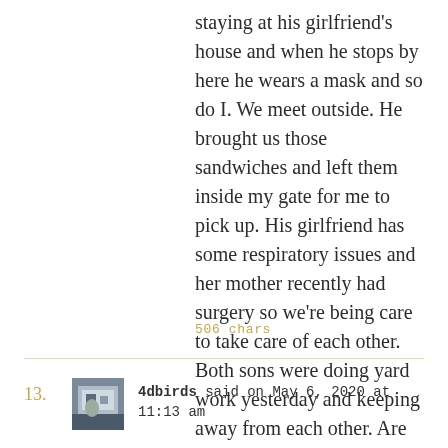staying at his girlfriend's house and when he stops by here he wears a mask and so do I. We meet outside. He brought us those sandwiches and left them inside my gate for me to pick up. His girlfriend has some respiratory issues and her mother recently had surgery so we're being care to take care of each other. Both sons were doing yard work yesterday and keeping away from each other. Are we overdoing it? I don't think so.
506 chars
13. 4dbirds said on May 6, 2020 at 11:13 am